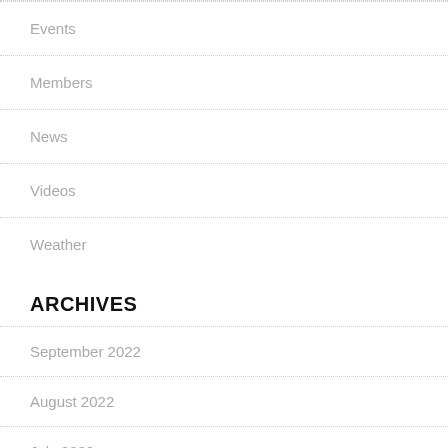Events
Members
News
Videos
Weather
ARCHIVES
September 2022
August 2022
July 2022